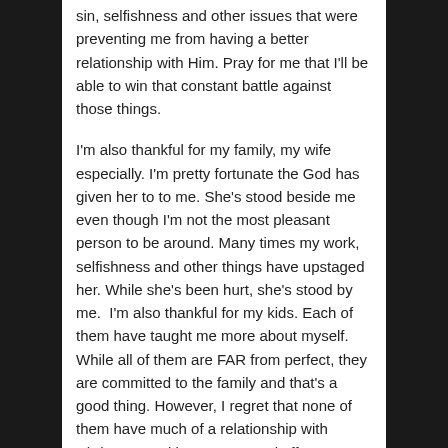sin, selfishness and other issues that were preventing me from having a better relationship with Him. Pray for me that I'll be able to win that constant battle against those things.
I'm also thankful for my family, my wife especially. I'm pretty fortunate the God has given her to to me. She's stood beside me even though I'm not the most pleasant person to be around. Many times my work, selfishness and other things have upstaged her. While she's been hurt, she's stood by me.  I'm also thankful for my kids. Each of them have taught me more about myself. While all of them are FAR from perfect, they are committed to the family and that's a good thing. However, I regret that none of them have much of a relationship with Christ. I'm making a concerted effort to pray for God's work in their hearts. Anastsia is young. I'm praying God will move in her heart early. With her personality, I believe God has got some great plans for her.
I'm also fortunate to have a Mom and Dad who have